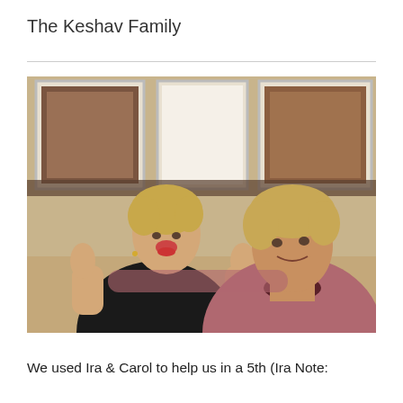The Keshav Family
[Figure (photo): A smiling woman in a black top and a man in a dark pink/mauve t-shirt, both giving thumbs up, seated indoors with framed artwork on the wall behind them.]
We used Ira & Carol to help us in a 5th (Ira Note: